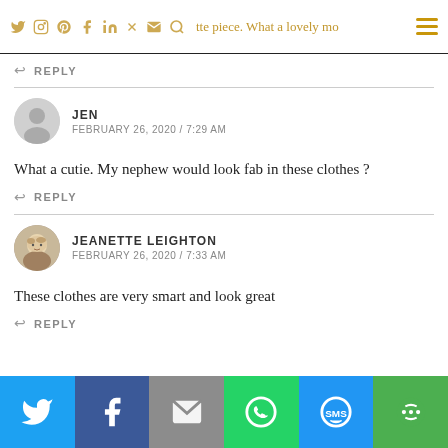Social media navigation icons and hamburger menu
↩ REPLY
JEN
FEBRUARY 26, 2020 / 7:29 AM
What a cutie. My nephew would look fab in these clothes ?
↩ REPLY
JEANETTE LEIGHTON
FEBRUARY 26, 2020 / 7:33 AM
These clothes are very smart and look great
↩ REPLY
Share buttons: Twitter, Facebook, Email, WhatsApp, SMS, More